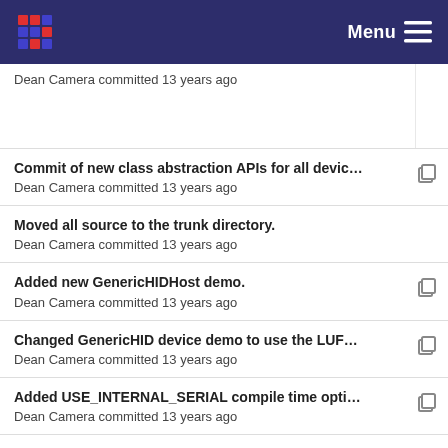Menu
Dean Camera committed 13 years ago
Commit of new class abstraction APIs for all devic...
Dean Camera committed 13 years ago
Moved all source to the trunk directory.
Dean Camera committed 13 years ago
Added new GenericHIDHost demo.
Dean Camera committed 13 years ago
Changed GenericHID device demo to use the LUF...
Dean Camera committed 13 years ago
Added USE_INTERNAL_SERIAL compile time opti...
Dean Camera committed 13 years ago
Synchronise with the 090605 release.
Dean Camera committed 13 years ago